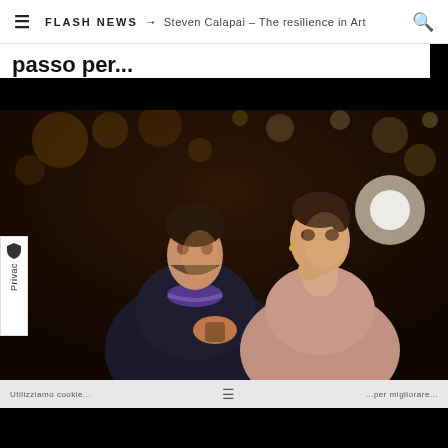≡  FLASH NEWS → Steven Calapai – The resilience in Art  🔍
passo per...
[Figure (photo): A man and woman seated at a restaurant or bar in a dimly lit setting with warm bokeh lights in the background. The man is speaking and holding something, looking at the woman. The woman rests her chin on her hand, looking somewhat bored or distant.]
Utilizziamo cookie... ...per migliorare...